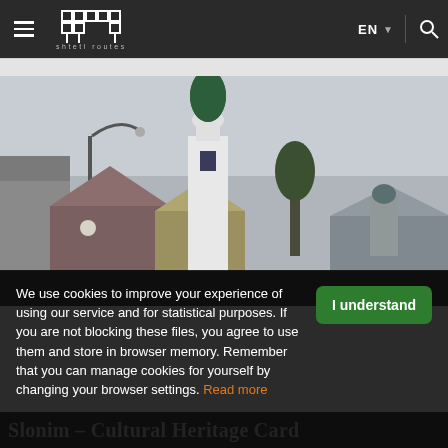shtetl routes — EN navigation bar
[Figure (photo): Urban rooftop skyline showing buildings with tiled roofs and a white Orthodox or Catholic church tower with a green onion dome and gold cross, street lamp visible on the left, overcast sky]
We use cookies to improve your experience of using our service and for statistical purposes. If you are not blocking these files, you agree to use them and store in browser memory. Remember that you can manage cookies for yourself by changing your browser settings. Read more
Slonim – Cultural Heritage Card